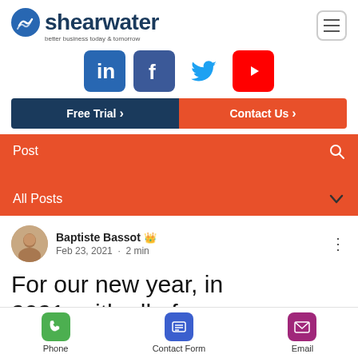[Figure (logo): Shearwater logo with icon and tagline 'better business today & tomorrow']
[Figure (infographic): Social media icons row: LinkedIn, Facebook, Twitter, YouTube]
[Figure (infographic): CTA buttons: 'Free Trial >' and 'Contact Us >']
[Figure (screenshot): Filter bar with 'Post' search and 'All Posts' dropdown on coral/orange background]
[Figure (photo): Author avatar of Baptiste Bassot]
Baptiste Bassot 👑
Feb 23, 2021 · 2 min
For our new year, in 2021, with all of you
[Figure (infographic): Bottom navigation bar with Phone, Contact Form, and Email icons]